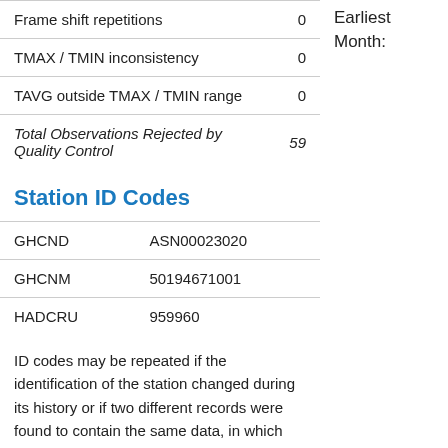|  |  |
| --- | --- |
| Frame shift repetitions | 0 |
| TMAX / TMIN inconsistency | 0 |
| TAVG outside TMAX / TMIN range | 0 |
| Total Observations Rejected by Quality Control | 59 |
Earliest Month:
Station ID Codes
|  |  |
| --- | --- |
| GHCND | ASN00023020 |
| GHCNM | 50194671001 |
| HADCRU | 959960 |
ID codes may be repeated if the identification of the station changed during its history or if two different records were found to contain the same data, in which